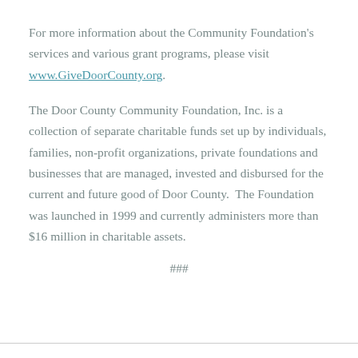For more information about the Community Foundation's services and various grant programs, please visit www.GiveDoorCounty.org.
The Door County Community Foundation, Inc. is a collection of separate charitable funds set up by individuals, families, non-profit organizations, private foundations and businesses that are managed, invested and disbursed for the current and future good of Door County.  The Foundation was launched in 1999 and currently administers more than $16 million in charitable assets.
###